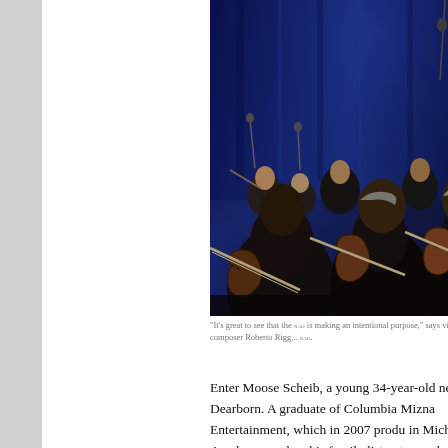[Figure (photo): Orchestra musicians playing violins on stage under blue stage lighting, photographed from behind/side angle showing multiple violinists in performance.]
“It’s great to see that the NAO is making an intentional purpose,” says violinist and composer Roberto Rigg... NAO.
Enter Moose Scheib, a young 34-year-old nearby Dearborn. A graduate of Columbia Mizna Entertainment, which in 2007 produ in Michigan. Aged seven when his family listen to much classical Arab music until h Orchestra concert. Then, he says, he fell im